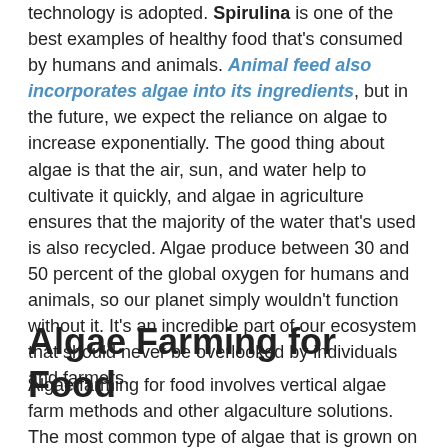technology is adopted. Spirulina is one of the best examples of healthy food that's consumed by humans and animals. Animal feed also incorporates algae into its ingredients, but in the future, we expect the reliance on algae to increase exponentially. The good thing about algae is that the air, sun, and water help to cultivate it quickly, and algae in agriculture ensures that the majority of the water that's used is also recycled. Algae produce between 30 and 50 percent of the global oxygen for humans and animals, so our planet simply wouldn't function without it. It's an incredible part of our ecosystem that should never be overlooked by individuals and farmers.
Algae Farming for Food
Algae farming for food involves vertical algae farm methods and other algaculture solutions. The most common type of algae that is grown on vertical farms is